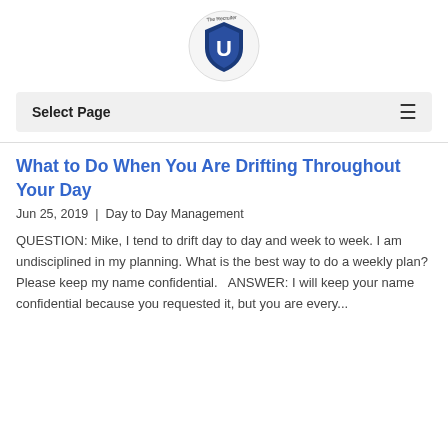[Figure (logo): The Recruiter U shield logo — circular badge with dark blue shield and letter U, 'The Recruiter' text around the top arc]
Select Page
What to Do When You Are Drifting Throughout Your Day
Jun 25, 2019  |  Day to Day Management
QUESTION: Mike, I tend to drift day to day and week to week. I am undisciplined in my planning. What is the best way to do a weekly plan? Please keep my name confidential.   ANSWER: I will keep your name confidential because you requested it, but you are every...